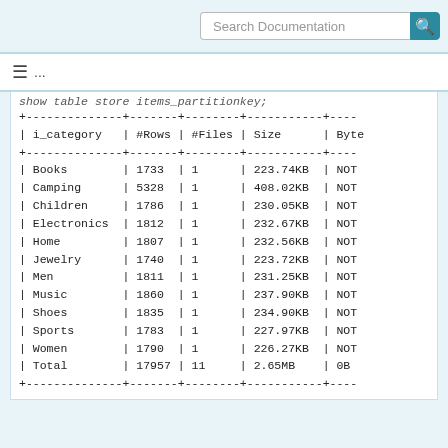Search Documentation
≡ ...
| i_category | #Rows | #Files | Size | Byte |
| --- | --- | --- | --- | --- |
| Books | 1733 | 1 | 223.74KB | NOT |
| Camping | 5328 | 1 | 408.02KB | NOT |
| Children | 1786 | 1 | 230.05KB | NOT |
| Electronics | 1812 | 1 | 232.67KB | NOT |
| Home | 1807 | 1 | 232.56KB | NOT |
| Jewelry | 1740 | 1 | 223.72KB | NOT |
| Men | 1811 | 1 | 231.25KB | NOT |
| Music | 1860 | 1 | 237.90KB | NOT |
| Shoes | 1835 | 1 | 234.90KB | NOT |
| Sports | 1783 | 1 | 227.97KB | NOT |
| Women | 1790 | 1 | 226.27KB | NOT |
| Total | 17957 | 11 | 2.65MB | 0B |